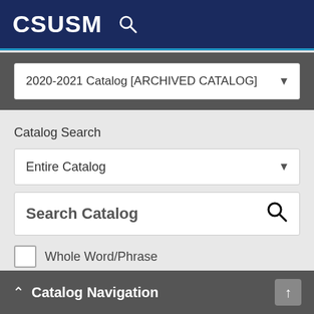CSUSM
2020-2021 Catalog [ARCHIVED CATALOG]
Catalog Search
Entire Catalog
Search Catalog
Whole Word/Phrase
Advanced Search
Catalog Navigation